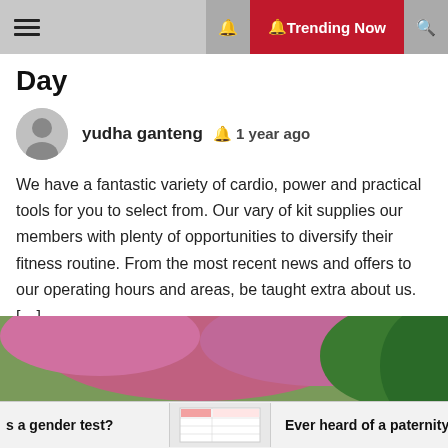☰  🔔 Trending Now 🔍
Day
yudha ganteng  🔔 1 year ago
We have a fantastic variety of cardio, power and practical tools for you to select from. Our vary of kit supplies our members with plenty of opportunities to diversify their fitness routine. From the most recent news and offers to our operating hours and areas, be taught extra about us. […]
[Figure (photo): Woman in blue sportswear doing yoga/stretching outdoors with blooming pink cherry blossom trees in the background]
is a gender test?   Ever heard of a paternity